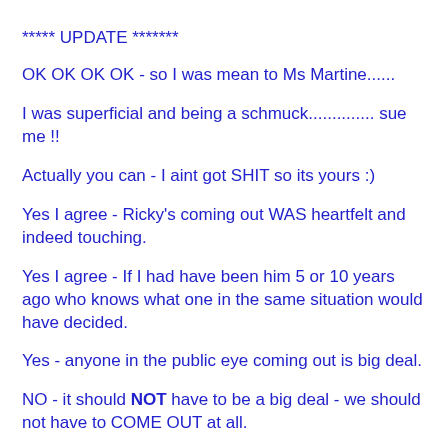***** UPDATE *******
OK OK OK OK - so I was mean to Ms Martine......
I was superficial and being a schmuck.............. sue me !!
Actually you can - I aint got SHIT so its yours :)
Yes I agree - Ricky's coming out WAS heartfelt and indeed touching.
Yes I agree - If I had have been him 5 or 10 years ago who knows what one in the same situation would have decided.
Yes - anyone in the public eye coming out is big deal.
NO - it should NOT have to be a big deal - we should not have to COME OUT at all.